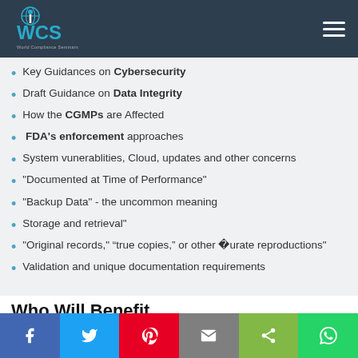WCS World Compliance Seminars
Key Guidances on Cybersecurity
Draft Guidance on Data Integrity
How the CGMPs are Affected
FDA's enforcement approaches
System vunerablities, Cloud, updates and other concerns
"Documented at Time of Performance"
"Backup Data" - the uncommon meaning
Storage and retrieval"
"Original records," “true copies,” or other “accurate reproductions"
Validation and unique documentation requirements
Who Will Benefit
Social share bar: Facebook, Twitter, Pinterest, Email, Share, WhatsApp